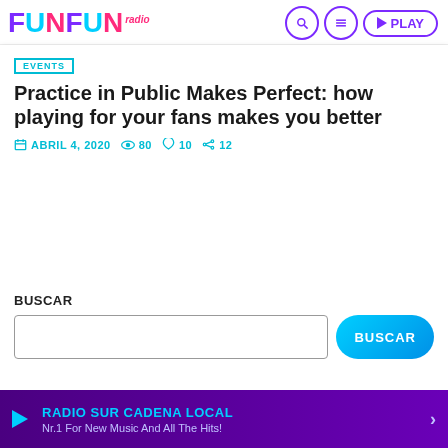FunFun Radio — navigation header with search, menu, and PLAY button
EVENTS
Practice in Public Makes Perfect: how playing for your fans makes you better
ABRIL 4, 2020  80  10  12
BUSCAR
RADIO SUR CADENA LOCAL — Nr.1 For New Music And All The Hits!